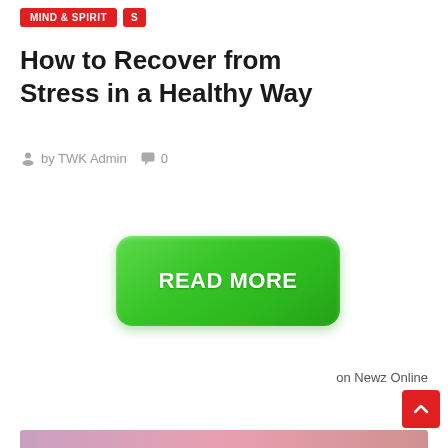MIND & SPIRIT  S
How to Recover from Stress in a Healthy Way
by TWK Admin  0
[Figure (other): Green rounded READ MORE button]
on Newz Online
[Figure (other): Red back-to-top arrow button in bottom right]
[Figure (other): Colorful gradient strip at the very bottom of the page]